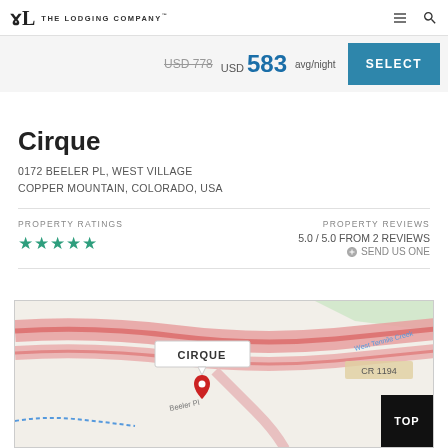The Lodging Company
USD 778  USD 583 avg/night  SELECT
Cirque
0172 BEELER PL, WEST VILLAGE
COPPER MOUNTAIN, COLORADO, USA
PROPERTY RATINGS
★★★★★
PROPERTY REVIEWS
5.0 / 5.0 FROM 2 REVIEWS
⊕ SEND US ONE
[Figure (map): Map showing location of Cirque property on Beeler Pl, Copper Mountain, Colorado. A label box reads CIRQUE with a red map pin marker. Roads, CR 1194, CR 7195, West Tennile Creek are visible.]